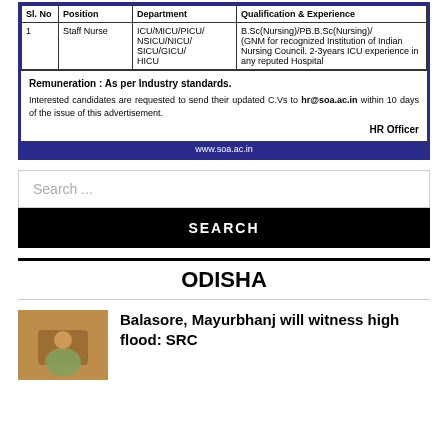| Sl. No | Position | Department | Qualification & Experience |
| --- | --- | --- | --- |
| 1 | Staff Nurse | ICU/MICU/PICU/NSICU/NICU/SICU/GICU/HICU | B.Sc(Nursing)/PB.B.Sc(Nursing)/(GNM for recognized Institution of Indian Nursing Council. 2-3years ICU experience in any reputed Hospital |
Remuneration : As per Industry standards. Interested candidates are requested to send their updated C.Vs to hr@soa.ac.in within 10 days of the issue of this advertisement. HR Officer
www.soa.ac.in
Search ...
SEARCH
ODISHA
Balasore, Mayurbhanj will witness high flood: SRC